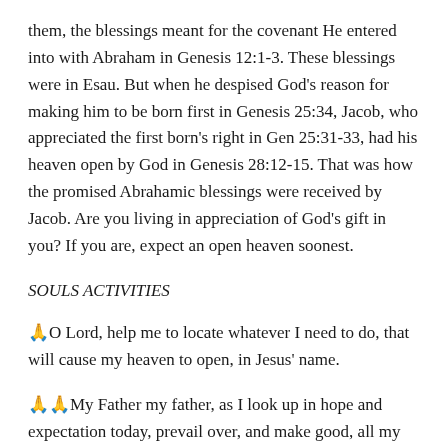them, the blessings meant for the covenant He entered into with Abraham in Genesis 12:1-3. These blessings were in Esau. But when he despised God's reason for making him to be born first in Genesis 25:34, Jacob, who appreciated the first born's right in Gen 25:31-33, had his heaven open by God in Genesis 28:12-15. That was how the promised Abrahamic blessings were received by Jacob. Are you living in appreciation of God's gift in you? If you are, expect an open heaven soonest.
SOULS ACTIVITIES
🙏O Lord, help me to locate whatever I need to do, that will cause my heaven to open, in Jesus' name.
🙏🙏My Father my father, as I look up in hope and expectation today, prevail over, and make good, all my horrible and shameful situations, in Jesus' name.